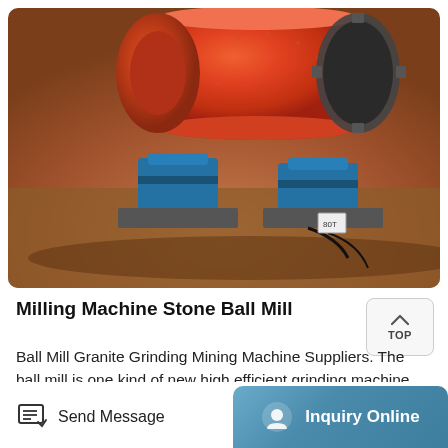[Figure (photo): Large orange/red industrial ball mill grinding machine sitting on a concrete floor. The cylindrical drum is prominently orange-red, with blue support bearing housings visible, and a large gear ring on the right side.]
Milling Machine Stone Ball Mill
Ball Mill Granite Grinding Mining Machine Suppliers. The ball mill is one kind of new high efficient grinding machine This mill is mainly used for coarse powder and small size of sand producing The ball mill is widely used in metallurgy mining chemical cement construction industrial and mining industries etc We're here to help Easy ways to get the answers you need 0086-21-